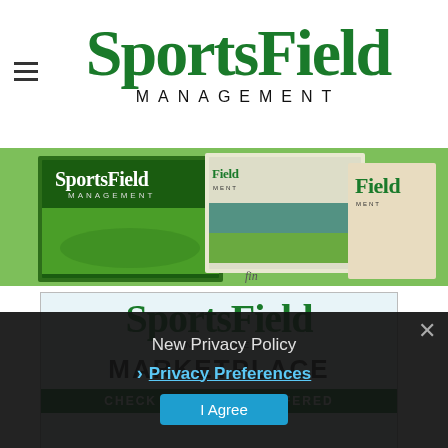[Figure (logo): SportsField Management logo in dark green, large serif bold type with 'MANAGEMENT' in spaced sans-serif below]
[Figure (photo): Three SportsField Management magazine covers fanned out on green background]
[Figure (logo): SportsField Management Marketplace card with green logo, MARKETPLACE text and CHECK OUT WHAT'S OFFERED banner]
New Privacy Policy
Privacy Preferences
I Agree